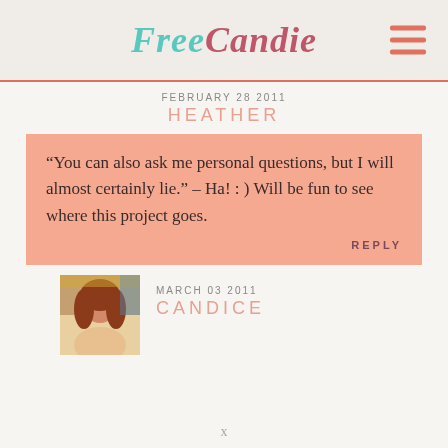FreeCandie
FEBRUARY 28 2011
HEATHER
“You can also ask me personal questions, but I will almost certainly lie.” – Ha! : ) Will be fun to see where this project goes.
REPLY
[Figure (photo): Avatar photo of Candice, a woman with red/auburn hair]
MARCH 03 2011
CANDICE